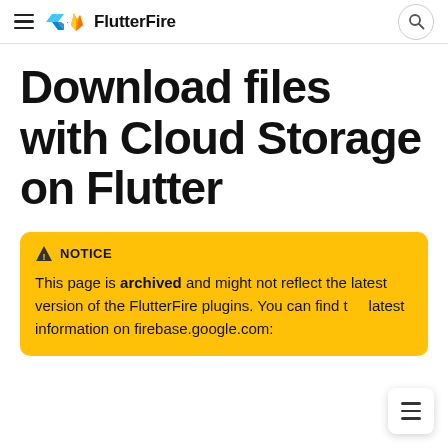FlutterFire
Download files with Cloud Storage on Flutter
NOTICE
This page is archived and might not reflect the latest version of the FlutterFire plugins. You can find the latest information on firebase.google.com: